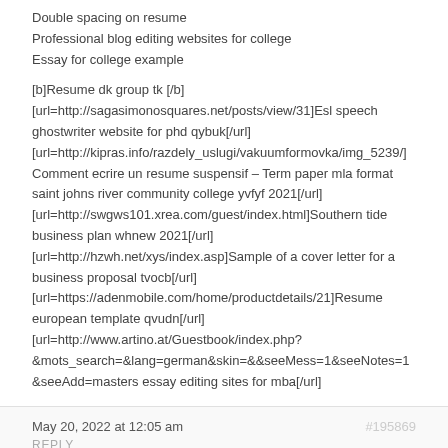Double spacing on resume
Professional blog editing websites for college
Essay for college example
[b]Resume dk group tk [/b]
[url=http://sagasimonosquares.net/posts/view/31]Esl speech ghostwriter website for phd qybuk[/url]
[url=http://kipras.info/razdely_uslugi/vakuumformovka/img_5239/]Comment ecrire un resume suspensif – Term paper mla format saint johns river community college yvfyf 2021[/url]
[url=http://swgws101.xrea.com/guest/index.html]Southern tide business plan whnew 2021[/url]
[url=http://hzwh.net/xys/index.asp]Sample of a cover letter for a business proposal tvocb[/url]
[url=https://adenmobile.com/home/productdetails/21]Resume european template qvudn[/url]
[url=http://www.artino.at/Guestbook/index.php?&mots_search=&lang=german&skin=&&seeMess=1&seeNotes=1&seeAdd=masters essay editing sites for mba[/url]
May 20, 2022 at 12:05 am
#195869
REPLY